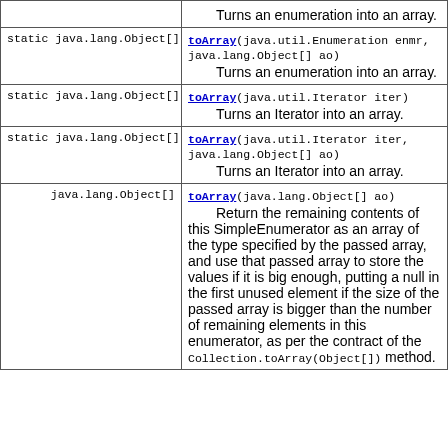| Type | Method and Description |
| --- | --- |
|  | Turns an enumeration into an array. |
| static java.lang.Object[] | toArray(java.util.Enumeration enmr, java.lang.Object[] ao)
        Turns an enumeration into an array. |
| static java.lang.Object[] | toArray(java.util.Iterator iter)
        Turns an Iterator into an array. |
| static java.lang.Object[] | toArray(java.util.Iterator iter, java.lang.Object[] ao)
        Turns an Iterator into an array. |
| java.lang.Object[] | toArray(java.lang.Object[] ao)
        Return the remaining contents of this SimpleEnumerator as an array of the type specified by the passed array, and use that passed array to store the values if it is big enough, putting a null in the first unused element if the size of the passed array is bigger than the number of remaining elements in this enumerator, as per the contract of the Collection.toArray(Object[]) method. |